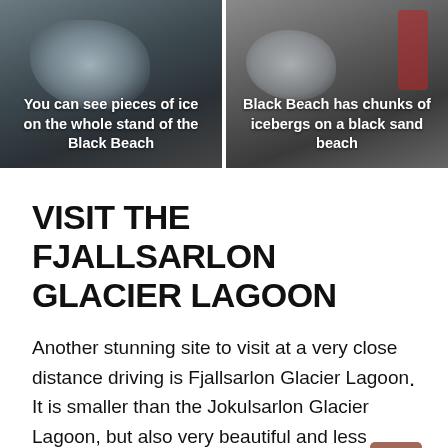[Figure (photo): Two side-by-side photos of Black Beach Iceland with captions overlaid. Left photo shows pieces of ice on a black sand beach. Right photo shows chunks of icebergs on a black sand beach with a red object visible.]
You can see pieces of ice on the whole stand of the Black Beach
Black Beach has chunks of icebergs on a black sand beach
VISIT THE FJALLSARLON GLACIER LAGOON
Another stunning site to visit at a very close distance driving is Fjallsarlon Glacier Lagoon. It is smaller than the Jokulsarlon Glacier Lagoon, but also very beautiful and less crowded.
You can hike around the lake or pay for a